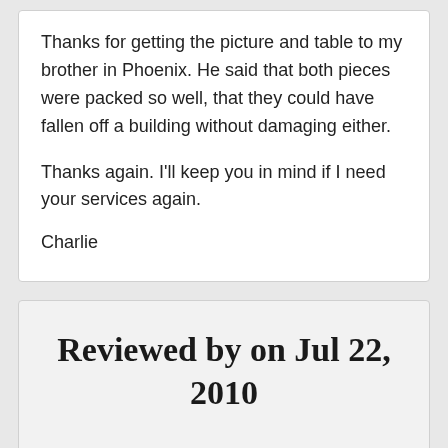Thanks for getting the picture and table to my brother in Phoenix.  He said that both pieces were packed so well, that they could have fallen off a building without damaging either.
Thanks again.  I'll keep you in mind if I need your services again.
Charlie
Reviewed by on Jul 22, 2010